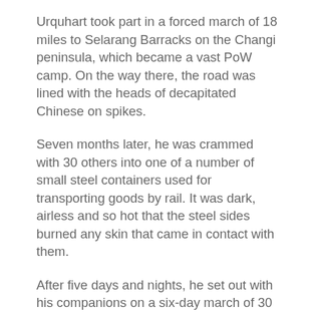Urquhart took part in a forced march of 18 miles to Selarang Barracks on the Changi peninsula, which became a vast PoW camp. On the way there, the road was lined with the heads of decapitated Chinese on spikes.
Seven months later, he was crammed with 30 others into one of a number of small steel containers used for transporting goods by rail. It was dark, airless and so hot that the steel sides burned any skin that came in contact with them.
After five days and nights, he set out with his companions on a six-day march of 30 miles. Prodded by bayonets and beaten with bamboo canes, they had to keep up a good pace through the jungle while avoiding venomous tree snakes dangling from the branches overhead.
On arrival at Kanyu Camp, on the River Kwai, Urquhart had contracted malaria and was covered in scabies and lice, but he had to help